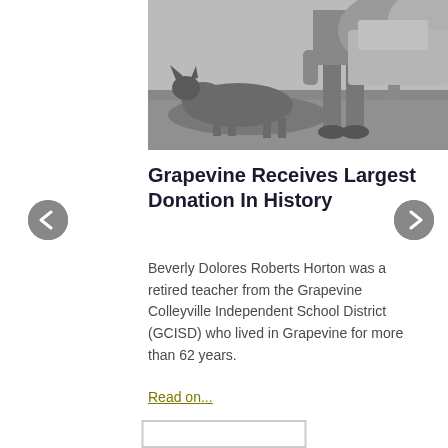[Figure (photo): Black and white photograph of a person crouching next to a German Shepherd dog outdoors]
Grapevine Receives Largest Donation In History
Beverly Dolores Roberts Horton was a retired teacher from the Grapevine Colleyville Independent School District (GCISD) who lived in Grapevine for more than 62 years.
Read on...